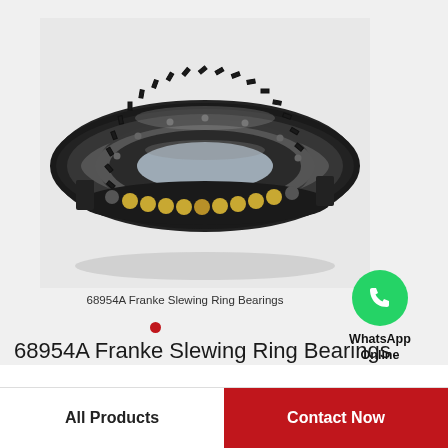[Figure (photo): Product photo of 68954A Franke Slewing Ring Bearing — a large circular ring bearing with black toothed outer gear ring, silver inner race, and visible golden/brass balls in a cutaway section at the bottom front.]
[Figure (logo): WhatsApp green circular icon with white telephone handset, followed by text 'WhatsApp Online' in bold black.]
68954A Franke Slewing Ring Bearings
68954A Franke Slewing Ring Bearings
All Products
Contact Now